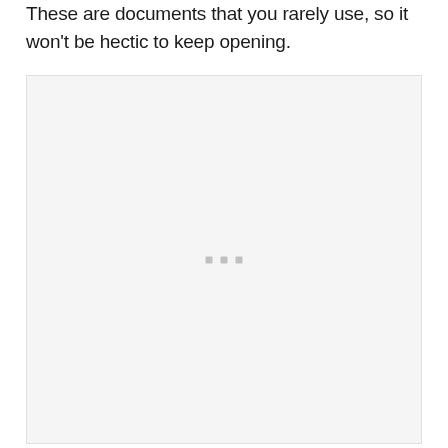These are documents that you rarely use, so it won't be hectic to keep opening.
[Figure (screenshot): A light gray placeholder box with three small gray squares centered in the middle, indicating a loading or empty image state.]